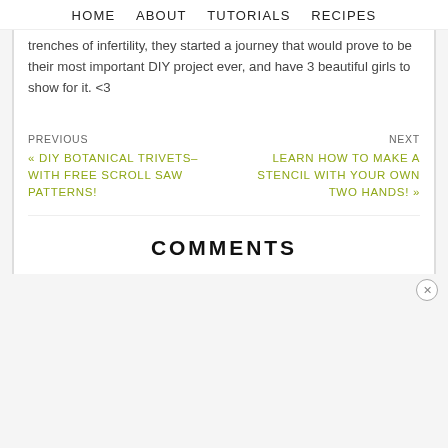HOME   ABOUT   TUTORIALS   RECIPES
trenches of infertility, they started a journey that would prove to be their most important DIY project ever, and have 3 beautiful girls to show for it. <3
PREVIOUS
« DIY BOTANICAL TRIVETS–WITH FREE SCROLL SAW PATTERNS!
NEXT
LEARN HOW TO MAKE A STENCIL WITH YOUR OWN TWO HANDS! »
COMMENTS